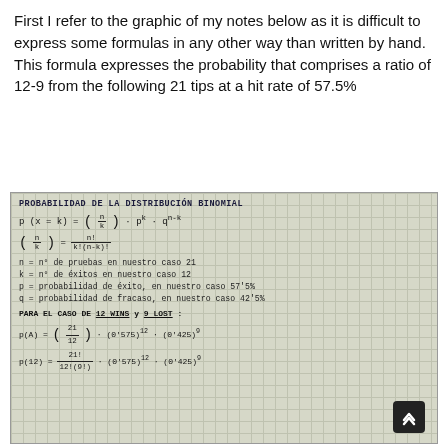First I refer to the graphic of my notes below as it is difficult to express some formulas in any other way than written by hand. This formula expresses the probability that comprises a ratio of 12-9 from the following 21 tips at a hit rate of 57.5%
[Figure (other): Handwritten notes on grid paper showing the Binomial Distribution probability formula: P(X=k) = C(n,k) * p^k * q^(n-k), where C(n,k) = n! / (k!(n-k)!). Definitions: n = number of trials (21), k = number of successes (12), p = probability of success (57.5%), q = probability of failure (42.5%). For the case of 12 WINS and 9 LOST: P(A) = C(21,12) * (0.575)^12 * (0.425)^9, P(12) = 21! / (12!(9!)) * (0.575)^12 * (0.425)^9]